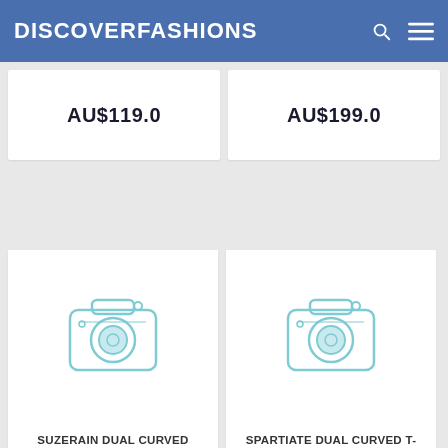DISCOVERFASHIONS
AU$119.0
AU$199.0
[Figure (photo): Camera placeholder icon for product image]
SUZERAIN DUAL CURVED HOODIE JET BLACK
[Figure (photo): Camera placeholder icon for product image]
SPARTIATE DUAL CURVED T-SHIRT WHITE